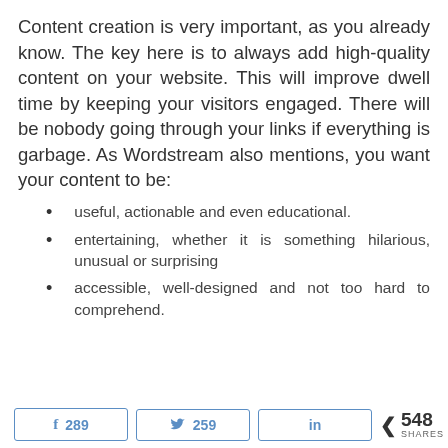Content creation is very important, as you already know. The key here is to always add high-quality content on your website. This will improve dwell time by keeping your visitors engaged. There will be nobody going through your links if everything is garbage. As Wordstream also mentions, you want your content to be:
useful, actionable and even educational.
entertaining, whether it is something hilarious, unusual or surprising
accessible, well-designed and not too hard to comprehend.
f 289   Twitter 259   in   < 548 SHARES